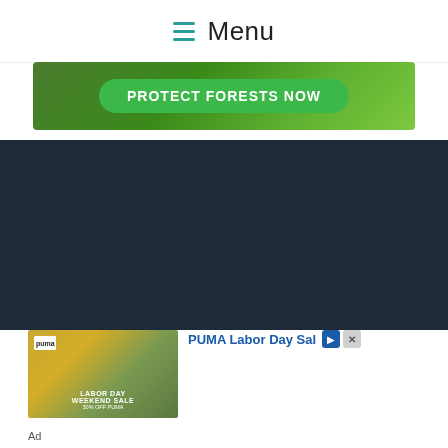Menu
[Figure (photo): Green promotional ad banner with text PROTECT FORESTS NOW on a rounded green button, forest background]
[Figure (photo): Dark navy blue background area]
[Figure (photo): PUMA Labor Day Weekend Sale advertisement with two athletes, LABOR DAY WEEKEND SALE 30% OFF PUMA text overlay and PUMA logo]
PUMA Labor Day Sale
Ad